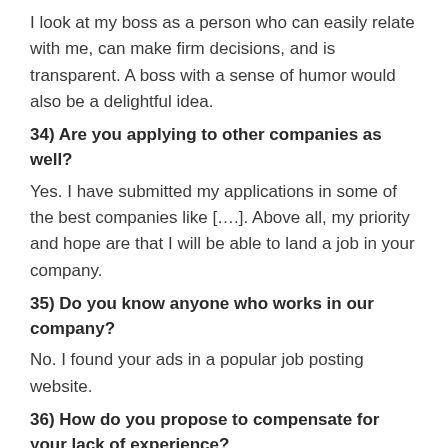I look at my boss as a person who can easily relate with me, can make firm decisions, and is transparent. A boss with a sense of humor would also be a delightful idea.
34) Are you applying to other companies as well?
Yes. I have submitted my applications in some of the best companies like [….]. Above all, my priority and hope are that I will be able to land a job in your company.
35) Do you know anyone who works in our company?
No. I found your ads in a popular job posting website.
36) How do you propose to compensate for your lack of experience?
I am a quick learner. Every time there is something new thrown at me, I take time to study it at the